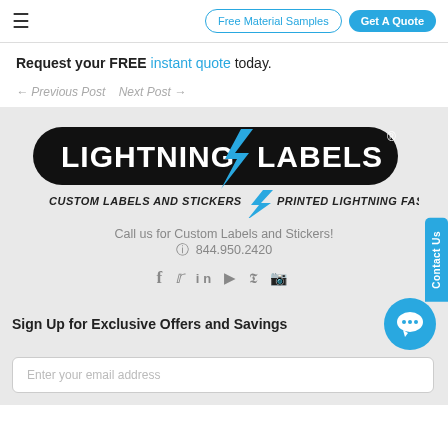≡  Free Material Samples  Get A Quote
Request your FREE instant quote today.
← Previous Post   Next Post →
[Figure (logo): Lightning Labels logo — LIGHTNING LABELS with lightning bolt, CUSTOM LABELS AND STICKERS PRINTED LIGHTNING FAST]
Call us for Custom Labels and Stickers!
☎ 844.950.2420
f 🐦 in ▶ 𝒫 📷
Sign Up for Exclusive Offers and Savings
Enter your email address